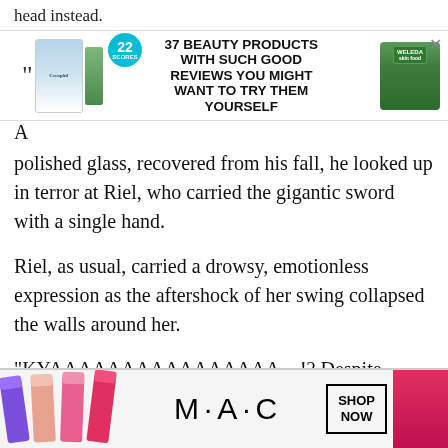head instead.
[Figure (infographic): Advertisement banner for '37 Beauty Products With Such Good Reviews You Might Want To Try Them Yourself' featuring Cerave and Weleda products with a teal badge showing '22']
A polished glass, recovered from his fall, he looked up in terror at Riel, who carried the gigantic sword with a single hand.
Riel, as usual, carried a drowsy, emotionless expression as the aftershock of her swing collapsed the walls around her.
“KYAAAAAAAAAAAAAAAA—!? Despite Harry-sensei’s young age, he’s already encountered the great strife of balding. Now his ha
[Figure (infographic): MAC cosmetics advertisement showing colorful lipsticks with SHOP NOW button, with a CLOSE button overlay]